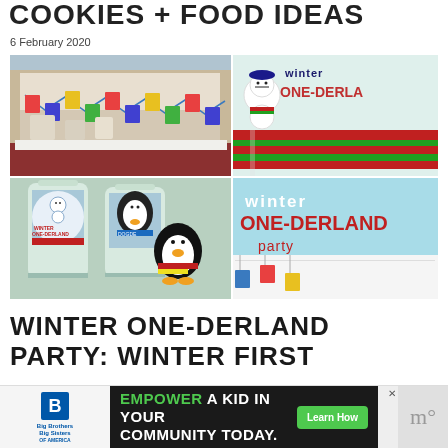COOKIES + FOOD IDEAS
6 February 2020
[Figure (photo): Collage of four images showing Winter One-Derland party: top-left shows party table with banner bunting; top-right shows 'Winter ONE-DERLAND' sign with snowman; bottom-left shows two water bottles with penguin and snowman labels; bottom-right shows 'winter ONE-DERLAND party' graphic with penguin and party decorations]
WINTER ONE-DERLAND PARTY: WINTER FIRST
[Figure (infographic): Advertisement banner: Big Brothers Big Sisters logo on left, center black background with text 'EMPOWER A KID IN YOUR COMMUNITY TODAY.' in green and white, green 'Learn How' button, close button, and decorative 'm' icon on right]